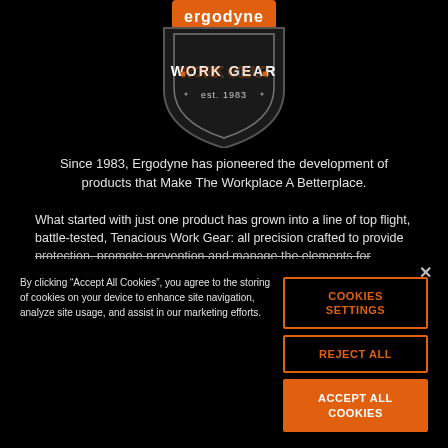[Figure (logo): Ergodyne Work Gear logo — orange shield shape with 'ergodyne' text in orange on top and 'WORK GEAR est. 1983' in white below on black background]
Since 1983, Ergodyne has pioneered the development of products that Make The Workplace A Betterplace.
What started with just one product has grown into a line of top flight, battle-tested, Tenacious Work Gear: all precision crafted to provide protection, promote prevention and manage the elements for workers on
By clicking “Accept All Cookies”, you agree to the storing of cookies on your device to enhance site navigation, analyze site usage, and assist in our marketing efforts.
COOKIES SETTINGS
REJECT ALL
ACCEPT ALL COOKIES